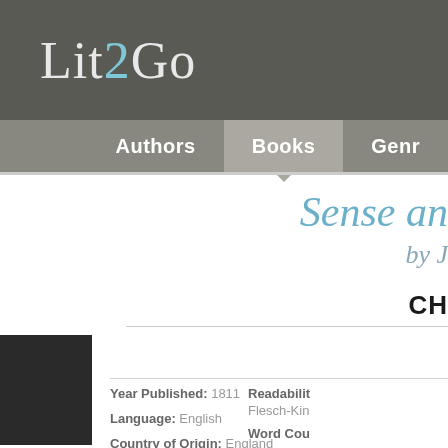Lit2Go
Authors  Books  Genre
Sense an...
by Ja...
CH
Year Published: 1811
Language: English
Country of Origin: England
Source: Austen, J. (1811). Sense and
Readability
Flesch-Kin
Word Cou